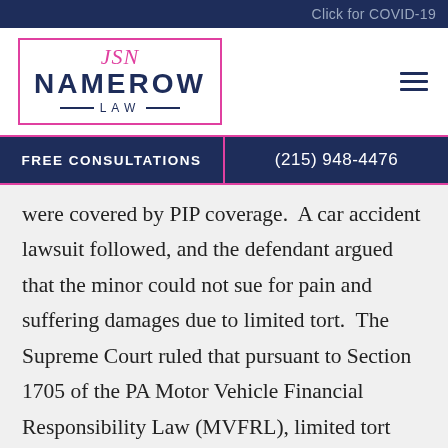Click for COVID-19
[Figure (logo): Namerow Law firm logo with pink script signature, dark navy NAMEROW LAW text inside pink border rectangle]
FREE CONSULTATIONS   (215) 948-4476
were covered by PIP coverage.  A car accident lawsuit followed, and the defendant argued that the minor could not sue for pain and suffering damages due to limited tort.  The Supreme Court ruled that pursuant to Section 1705 of the PA Motor Vehicle Financial Responsibility Law (MVFRL), limited tort only applies to vehicle drivers and passengers, and